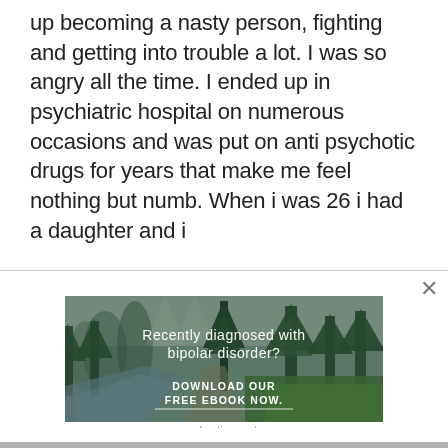up becoming a nasty person, fighting and getting into trouble a lot. I was so angry all the time. I ended up in psychiatric hospital on numerous occasions and was put on anti psychotic drugs for years that make me feel nothing but numb. When i was 26 i had a daughter and i
[Figure (photo): Advertisement banner showing a forest and river landscape with text overlay: 'Recently diagnosed with bipolar disorder? DOWNLOAD OUR FREE EBOOK NOW.' with an underline beneath the call to action.]
advertisement